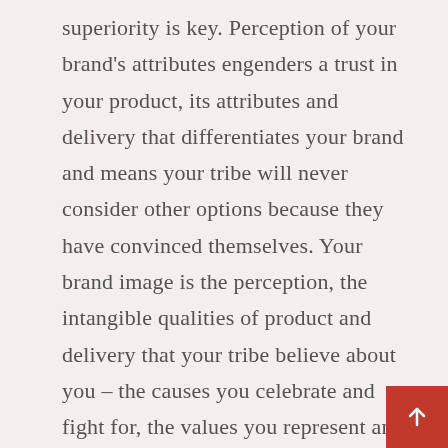superiority is key. Perception of your brand's attributes engenders a trust in your product, its attributes and delivery that differentiates your brand and means your tribe will never consider other options because they have convinced themselves. Your brand image is the perception, the intangible qualities of product and delivery that your tribe believe about you – the causes you celebrate and fight for, the values you represent and the wants and needs you meet that are all emotional and psychological.
[Figure (other): Red square button with upward-pointing arrow icon in the bottom-right corner of the page.]